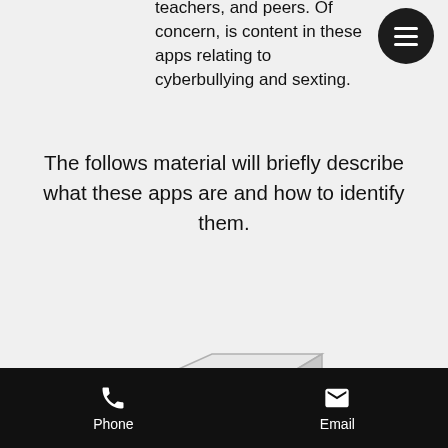teachers, and peers. Of concern, is content in these apps relating to cyberbullying and sexting.
The follows material will briefly describe what these apps are and how to identify them.
[Figure (illustration): A silver/grey metal safe with a combination dial lock and handle, shown in 3D perspective view.]
Vault Apps
Don't attempt to hide what they are. The app icon is usually displayed with some sort of secure symbol. In addition, the app is named
Phone   Email